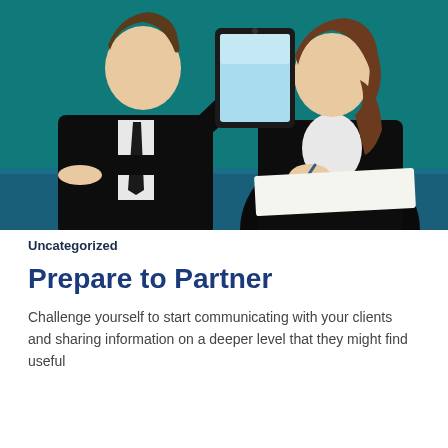[Figure (illustration): Flat vector illustration of two business professionals at a desk. A man in a black suit on the left holds up a tablet/device showing a blue screen, and a woman in a black blazer on the right writes on paper. Teal/dark green background.]
Uncategorized
Prepare to Partner
Challenge yourself to start communicating with your clients and sharing information on a deeper level that they might find useful